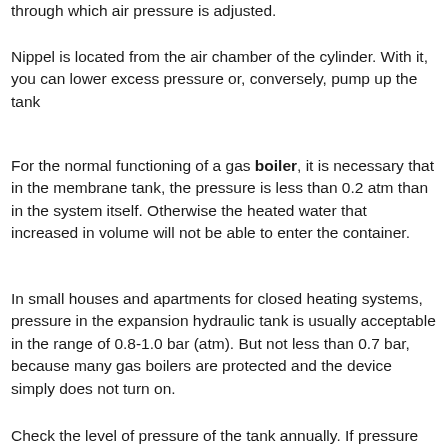through which air pressure is adjusted.
Nippel is located from the air chamber of the cylinder. With it, you can lower excess pressure or, conversely, pump up the tank
For the normal functioning of a gas boiler, it is necessary that in the membrane tank, the pressure is less than 0.2 atm than in the system itself. Otherwise the heated water that increased in volume will not be able to enter the container.
In small houses and apartments for closed heating systems, pressure in the expansion hydraulic tank is usually acceptable in the range of 0.8-1.0 bar (atm). But not less than 0.7 bar, because many gas boilers are protected and the device simply does not turn on.
Check the level of pressure of the tank annually. If pressure